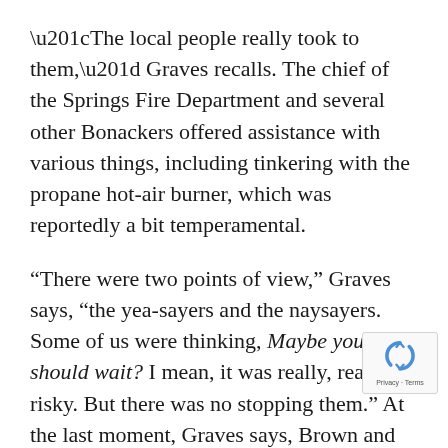“The local people really took to them,” Graves recalls. The chief of the Springs Fire Department and several other Bonackers offered assistance with various things, including tinkering with the propane hot-air burner, which was reportedly a bit temperamental.
“There were two points of view,” Graves says, “the yea-sayers and the naysayers. Some of us were thinking, Maybe you should wait? I mean, it was really, really risky. But there was no stopping them.” At the last moment, Graves says, Brown and Anderson “got Malcolm Brighton to come over, and very quickly.”
Brighton had come over to meet the Anderson August, at their request, and to decide if he would